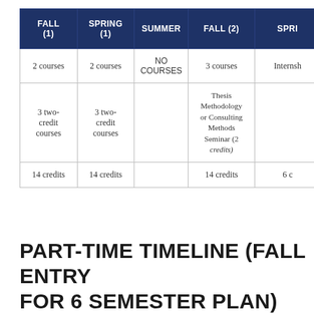| FALL (1) | SPRING (1) | SUMMER | FALL (2) | SPRI… |
| --- | --- | --- | --- | --- |
| 2 courses | 2 courses | NO COURSES | 3 courses | Internsh… |
| 3 two-credit courses | 3 two-credit courses |  | Thesis Methodology or Consulting Methods Seminar (2 credits) |  |
| 14 credits | 14 credits |  | 14 credits | 6 c… |
PART-TIME TIMELINE (FALL ENTRY FOR 6 SEMESTER PLAN)